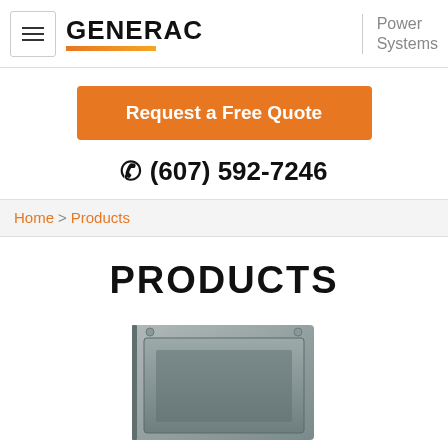GENERAC Power Systems
Request a Free Quote
(607) 592-7246
Home > Products
PRODUCTS
[Figure (photo): Gray metal electrical transfer switch box, partially cropped at bottom]